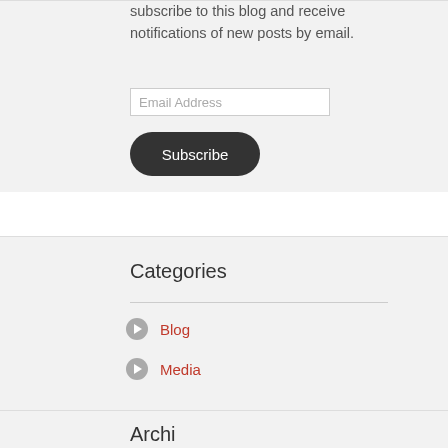subscribe to this blog and receive notifications of new posts by email.
[Figure (screenshot): Email Address input field]
[Figure (screenshot): Subscribe button with dark rounded rectangle background]
Categories
Blog
Media
Archi...